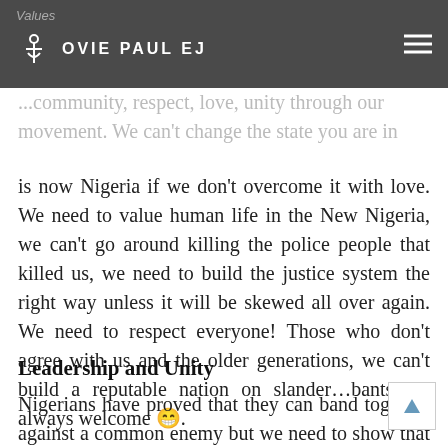Values — OVIE PAUL EJ
community, respect, love, unity through our movement. We can't change the state you are in is now Nigeria if we don't overcome it with love. We need to value human life in the New Nigeria, we can't go around killing the police people that killed us, we need to build the justice system the right way unless it will be skewed all over again. We need to respect everyone! Those who don't agree with us and the older generations, we can't build a reputable nation on slander…bants are always welcome 😁.
Leadership and Unity
Nigerians have proved that they can band together against a common enemy but we need to show that we can band together towards a positive cause regardless of tribe, gender, class, or...